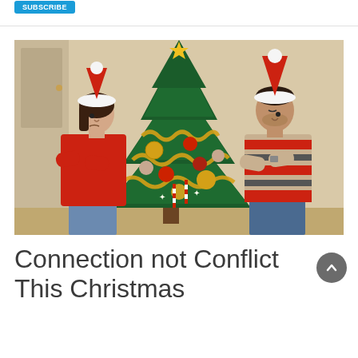[Figure (photo): A couple standing back-to-back with arms crossed in front of a decorated Christmas tree. The woman on the left wears a red sweater and a Santa hat, looking to the left. The man on the right wears a striped sweater and a Santa hat, looking down. The Christmas tree between them is decorated with gold, red ornaments, tinsel, and candy canes.]
Connection not Conflict This Christmas